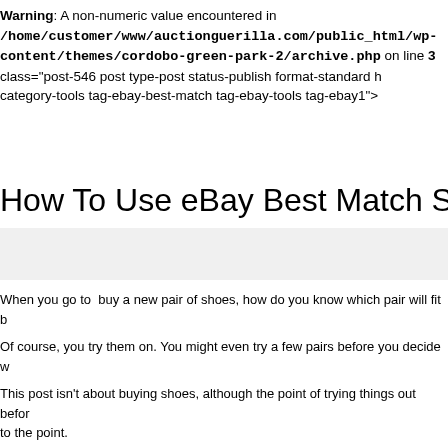Warning: A non-numeric value encountered in /home/customer/www/auctionguerilla.com/public_html/wp-content/themes/cordobo-green-park-2/archive.php on line 3 class="post-546 post type-post status-publish format-standard h category-tools tag-ebay-best-match tag-ebay-tools tag-ebay1">
How To Use eBay Best Match Split T
When you go to  buy a new pair of shoes, how do you know which pair will fit b
Of course, you try them on. You might even try a few pairs before you decide w
This post isn't about buying shoes, although the point of trying things out befor to the point.
It's the same with online advertising. Its best to try things out before you decide seller you also advertise online. But how do you know if your eBay listing really
Well, I have a new free tool you can use to find out and it's called eBay Best M
This nifty little tool allows you to input the click through rate (CTR) and the num